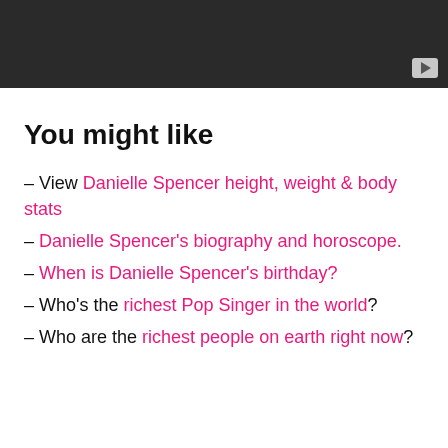[Figure (screenshot): Dark video player placeholder with a YouTube-style play button in the bottom right corner]
You might like
– View Danielle Spencer height, weight & body stats
– Danielle Spencer's biography and horoscope.
– When is Danielle Spencer's birthday?
– Who's the richest Pop Singer in the world?
– Who are the richest people on earth right now?